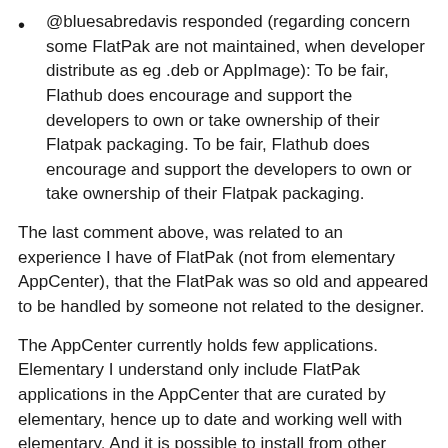@bluesabredavis responded (regarding concern some FlatPak are not maintained, when developer distribute as eg .deb or AppImage): To be fair, Flathub does encourage and support the developers to own or take ownership of their Flatpak packaging. To be fair, Flathub does encourage and support the developers to own or take ownership of their Flatpak packaging.
The last comment above, was related to an experience I have of FlatPak (not from elementary AppCenter), that the FlatPak was so old and appeared to be handled by someone not related to the designer.
The AppCenter currently holds few applications. Elementary I understand only include FlatPak applications in the AppCenter that are curated by elementary, hence up to date and working well with elementary. And it is possible to install from other repositories as well.